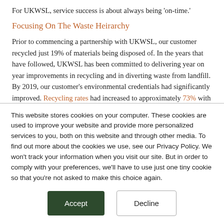For UKWSL, service success is about always being ‘on-time.’
Focusing On The Waste Heirarchy
Prior to commencing a partnership with UKWSL, our customer recycled just 19% of materials being disposed of. In the years that have followed, UKWSL has been committed to delivering year on year improvements in recycling and in diverting waste from landfill. By 2019, our customer’s environmental credentials had significantly improved. Recycling rates had increased to approximately 73% with landfill diversion exceeding 99%.
This website stores cookies on your computer. These cookies are used to improve your website and provide more personalized services to you, both on this website and through other media. To find out more about the cookies we use, see our Privacy Policy. We won’t track your information when you visit our site. But in order to comply with your preferences, we’ll have to use just one tiny cookie so that you’re not asked to make this choice again.